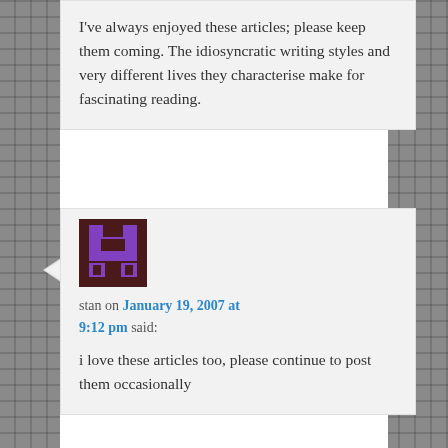I've always enjoyed these articles; please keep them coming. The idiosyncratic writing styles and very different lives they characterise make for fascinating reading.
[Figure (illustration): Pixel art avatar image — dark brown background with purple pixelated character/icon shape]
stan on January 19, 2007 at 9:12 pm said:
i love these articles too, please continue to post them occasionally